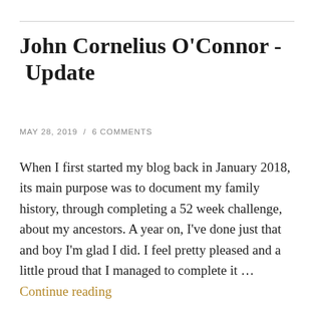John Cornelius O'Connor - Update
MAY 28, 2019  /  6 COMMENTS
When I first started my blog back in January 2018, its main purpose was to document my family history, through completing a 52 week challenge, about my ancestors. A year on, I've done just that and boy I'm glad I did. I feel pretty pleased and a little proud that I managed to complete it … Continue reading